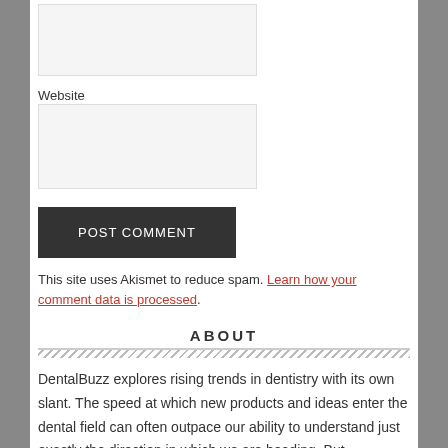Website
POST COMMENT
This site uses Akismet to reduce spam. Learn how your comment data is processed.
ABOUT
DentalBuzz explores rising trends in dentistry with its own slant. The speed at which new products and ideas enter the dental field can often outpace our ability to understand just exactly the direction in which we are heading. But somehow, by being a little less serious about dentistry and dental care, we might get closer to